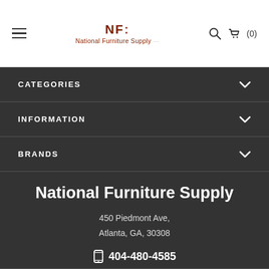NF National Furniture Supply | Search | Cart (0)
CATEGORIES
INFORMATION
BRANDS
National Furniture Supply
450 Piedmont Ave, Atlanta, GA, 30308
404-480-4585